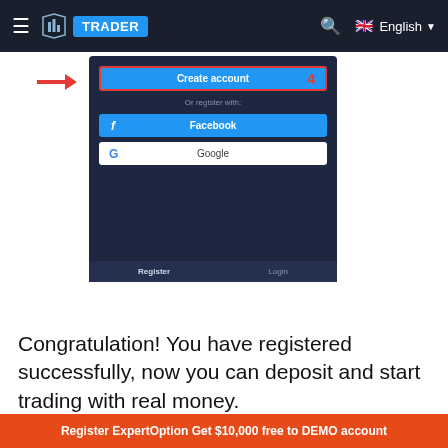[Figure (screenshot): Website navigation bar for 'Trader' platform with hamburger menu, logo, blue TRADER label, search icon, UK flag, and English language dropdown]
[Figure (screenshot): Mobile app screenshot showing 'Create account' tab with red arrow pointing to it, number 4 in red, 'Or register with:' text, Facebook button in blue, Google button in white, and Register/Login footer tabs]
Congratulation! You have registered successfully, now you can deposit and start trading with real money.
Register ExpertOption Get $10,000 free to DEMO account